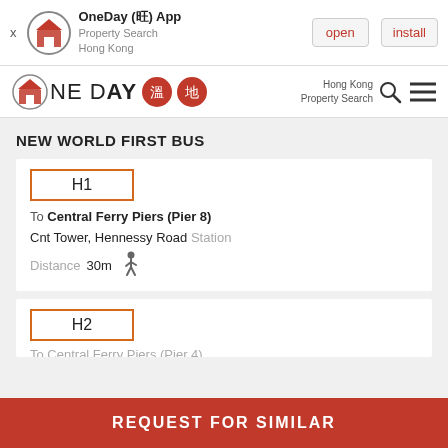[Figure (screenshot): App install banner for OneDay App - Property Search Hong Kong, with open and install buttons]
[Figure (logo): OneDay Property Search Hong Kong navigation bar with logo, search icon, and menu]
NEW WORLD FIRST BUS
H1
To Central Ferry Piers (Pier 8)
Cnt Tower, Hennessy Road Station
Distance 30m
H2
REQUEST FOR SIMILAR